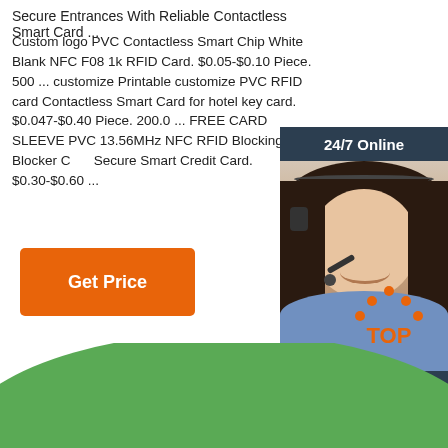Secure Entrances With Reliable Contactless Smart Card ...
Custom logo PVC Contactless Smart Chip White Blank NFC F08 1k RFID Card. $0.05-$0.10 Piece. 500 ... customize Printable customize PVC RFID card Contactless Smart Card for hotel key card. $0.047-$0.40 Piece. 200.0 ... FREE CARD SLEEVE PVC 13.56MHz NFC RFID Blocking Card Blocker Card Secure Smart Credit Card. $0.30-$0.60 ...
[Figure (other): Get Price orange button]
[Figure (other): 24/7 Online customer service chat widget with woman wearing headset, Click here for free chat!, QUOTATION button]
[Figure (other): TOP navigation icon with orange dots forming triangle above TOP text]
[Figure (other): Green dome/arc shape at bottom of page]